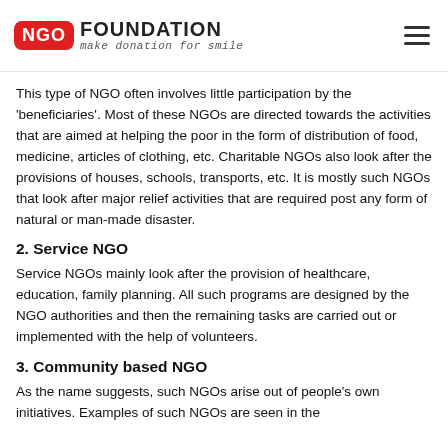NGO FOUNDATION make donation for smile
This type of NGO often involves little participation by the 'beneficiaries'. Most of these NGOs are directed towards the activities that are aimed at helping the poor in the form of distribution of food, medicine, articles of clothing, etc. Charitable NGOs also look after the provisions of houses, schools, transports, etc. It is mostly such NGOs that look after major relief activities that are required post any form of natural or man-made disaster.
2. Service NGO
Service NGOs mainly look after the provision of healthcare, education, family planning. All such programs are designed by the NGO authorities and then the remaining tasks are carried out or implemented with the help of volunteers.
3. Community based NGO
As the name suggests, such NGOs arise out of people's own initiatives. Examples of such NGOs are seen in the